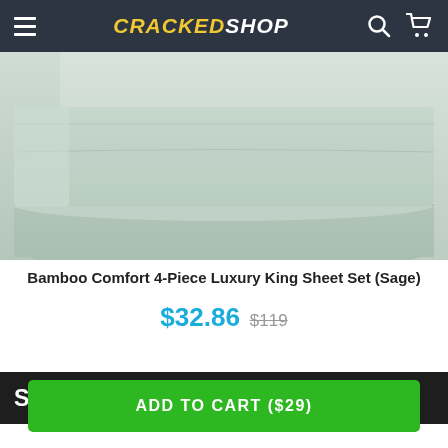CRACKEDSHOP
[Figure (photo): Folded bamboo sheet set in sage/mint green color, showing stacked and rolled sheets against a light background]
Bamboo Comfort 4-Piece Luxury King Sheet Set (Sage)
$32.86  $119
Sign up & get 10% Off
ADD TO CART ($29)